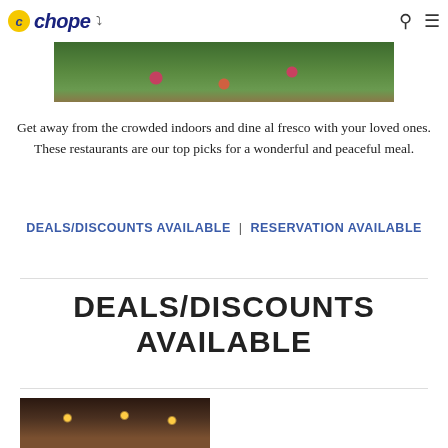chope
[Figure (photo): Outdoor restaurant scene with plants and flowers, partial view at top of page]
Get away from the crowded indoors and dine al fresco with your loved ones. These restaurants are our top picks for a wonderful and peaceful meal.
DEALS/DISCOUNTS AVAILABLE | RESERVATION AVAILABLE
DEALS/DISCOUNTS AVAILABLE
[Figure (photo): Outdoor restaurant with warm string lights, partial view at bottom of page]